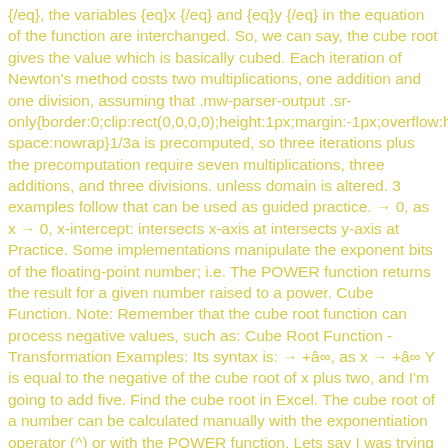{/eq}, the variables {eq}x {/eq} and {eq}y {/eq} in the equation of the function are interchanged. So, we can say, the cube root gives the value which is basically cubed. Each iteration of Newton's method costs two multiplications, one addition and one division, assuming that .mw-parser-output .sr-only{border:0;clip:rect(0,0,0,0);height:1px;margin:-1px;overflow:hidden;pa space:nowrap}1/3a is precomputed, so three iterations plus the precomputation require seven multiplications, three additions, and three divisions. unless domain is altered. 3 examples follow that can be used as guided practice. → 0, as x → 0, x-intercept: intersects x-axis at intersects y-axis at Practice. Some implementations manipulate the exponent bits of the floating-point number; i.e. The POWER function returns the result for a given number raised to a power. Cube Function. Note: Remember that the cube root function can process negative values, such as: Cube Root Function - Transformation Examples: Its syntax is: → +â∞, as x → +â∞ Y is equal to the negative of the cube root of x plus two, and I'm going to add five. Find the cube root in Excel. The cube root of a number can be calculated manually with the exponentiation operator (^) or with the POWER function. Lets say I was trying to figure out the restrictions of a radical equation and the function inside the radical was a cubic function. In mathematics, a cube root of a number x is a number y such that y3 = x. With this definition, the principal